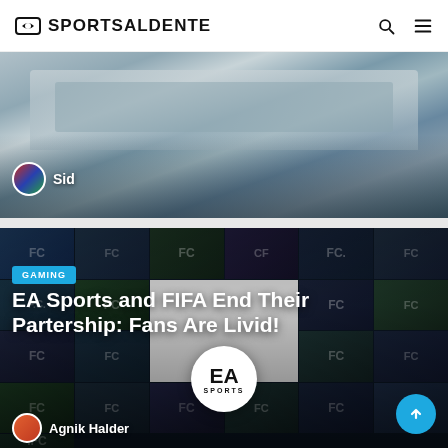SPORTSALDENTE
[Figure (photo): Aerial view of a sports stadium, author badge showing 'Sid']
[Figure (photo): EA Sports FC gaming collage background with GAMING badge, headline 'EA Sports and FIFA End Their Partership: Fans Are Livid!', EA Sports logo circle, author badge showing 'Agnik Halder']